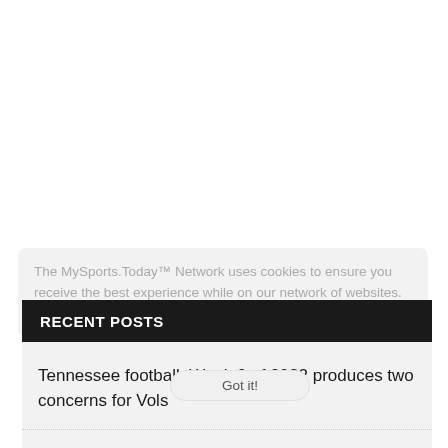The MySports.Today™ Network uses cookies to ensure you receive the best experience while on our network of websites. Learn more
RECENT POSTS
Got it!
Tennessee football: Week 0 of 2022 produces two concerns for Vols
What Kellie Harper is saying about new Lady Vols